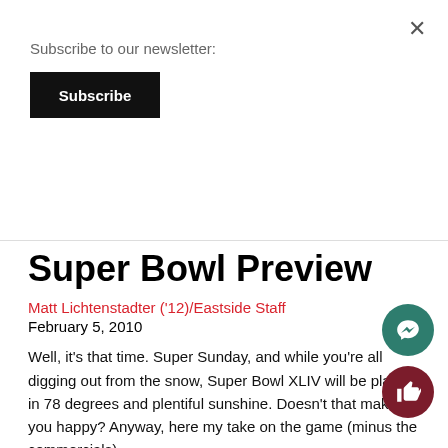Subscribe to our newsletter:
Subscribe
Super Bowl Preview
Matt Lichtenstadter ('12)/Eastside Staff
February 5, 2010
Well, it’s that time. Super Sunday, and while you’re all digging out from the snow, Super Bowl XLIV will be played in 78 degrees and plentiful sunshine. Doesn’t that make you happy? Anyway, here my take on the game (minus the commercials).
Saints Offense vs. Colts D: The Colts D is very fast, though undersized. They can get from sideline to